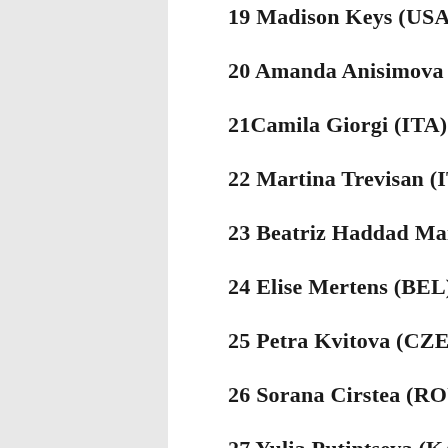19 Madison Keys (USA)
20 Amanda Anisimova (USA)
21 Camila Giorgi (ITA)
22 Martina Trevisan (ITA)
23 Beatriz Haddad Maia (BRA)
24 Elise Mertens (BEL)
25 Petra Kvitova (CZE)
26 Sorana Cirstea (ROU)
27 Yulia Putintseva (KAZ)